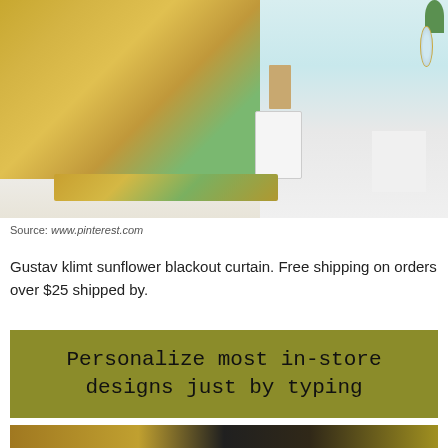[Figure (photo): A bathroom scene featuring a decorative shower curtain with Gustav Klimt 'The Kiss' artwork in gold and green tones, a matching bath mat on the floor, and a styled bathroom with white bathtub, wooden stool with towels, mirror, and potted plant.]
Source: www.pinterest.com
Gustav klimt sunflower blackout curtain. Free shipping on orders over $25 shipped by.
[Figure (illustration): Olive/khaki colored promotional banner with text: 'Personalize most in-store designs just by typing']
[Figure (photo): Bottom strip showing a partial image with gold, black and dark tones, likely another Klimt-inspired product.]